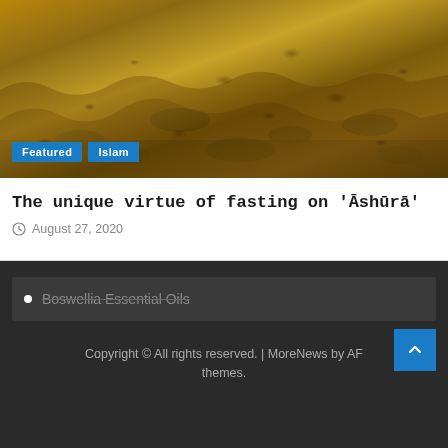[Figure (photo): Close-up photo of cracked dry earth with golden/amber tones, showing mud cracks and dried soil texture. Tags 'Featured' and 'Islam' overlaid at bottom left.]
The unique virtue of fasting on 'Āshūrā'
August 27, 2020
Boswellia Essential Oils
Copyright © All rights reserved. | MoreNews by AF themes.